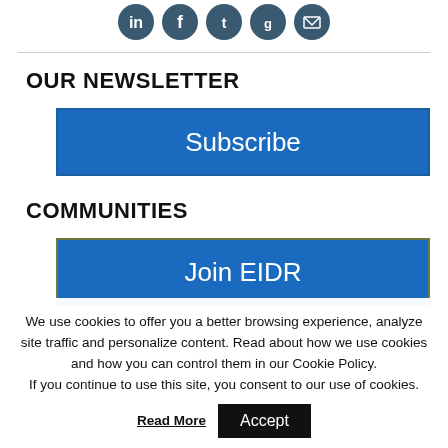[Figure (illustration): Five circular dark teal social media icons (LinkedIn, Facebook, Twitter, another icon, email) displayed in a row at the top of the page]
OUR NEWSLETTER
Subscribe
COMMUNITIES
Join EIDR
We use cookies to offer you a better browsing experience, analyze site traffic and personalize content. Read about how we use cookies and how you can control them in our Cookie Policy.
If you continue to use this site, you consent to our use of cookies. Read More  Accept